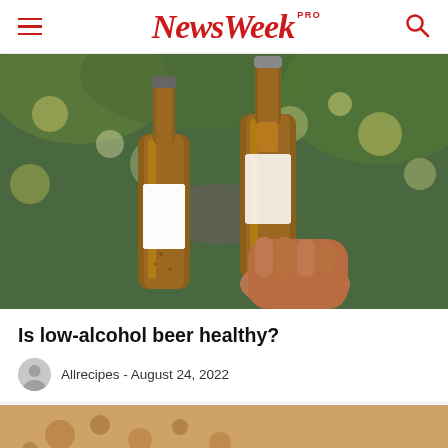NewsWeek PRO
[Figure (photo): Two beer bottles clinking together held by hands, with bokeh lights in the background at an outdoor venue]
Is low-alcohol beer healthy?
Allrecipes - August 24, 2022
[Figure (photo): Partial view of another image at the bottom of the page, showing what appears to be a food or drink item]